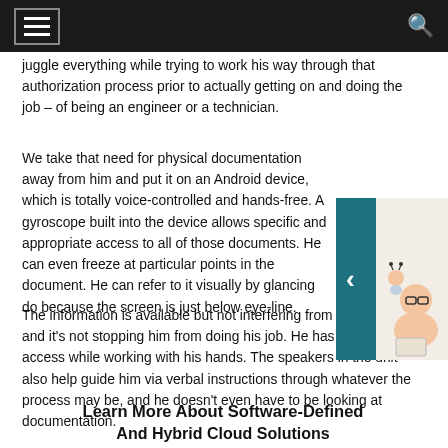juggle everything while trying to work his way through that authorization process prior to actually getting on and doing the job – of being an engineer or a technician.
We take that need for physical documentation away from him and put it on an Android device, which is totally voice-controlled and hands-free. A gyroscope built into the device allows specific and appropriate access to all of those documents. He can even freeze at particular points in the document. He can refer to it visually by glancing down because the screen is just below eye-line.
[Figure (illustration): A cartoon illustration of a small character sitting on the shoulder of a larger character who is reading or working, with a teal/dark cyan sidebar panel showing a left-pointing arrow.]
The information is available but not interfering from a perspective, and it's not stopping him from doing his job. He has that screen access while working with his hands. The speakers in the unit also help guide him via verbal instructions through whatever the process may be, and he doesn't even have to be looking at documentation.
Learn More About Software-Defined
And Hybrid Cloud Solutions